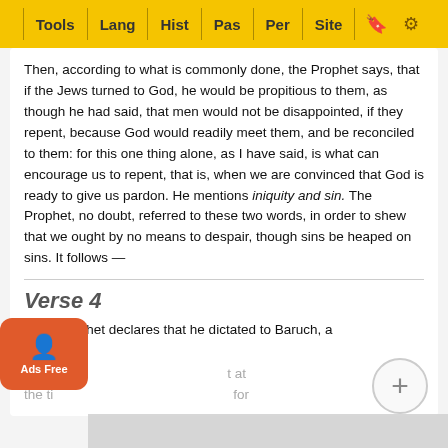Tools | Lang | Hist | Pas | Per | Site
Then, according to what is commonly done, the Prophet says, that if the Jews turned to God, he would be propitious to them, as though he had said, that men would not be disappointed, if they repent, because God would readily meet them, and be reconciled to them: for this one thing alone, as I have said, is what can encourage us to repent, that is, when we are convinced that God is ready to give us pardon. He mentions iniquity and sin. The Prophet, no doubt, referred to these two words, in order to shew that we ought by no means to despair, though sins be heaped on sins. It follows —
Verse 4
e the Prophet declares that he dictated to Baruch, a serva there t at the ti for